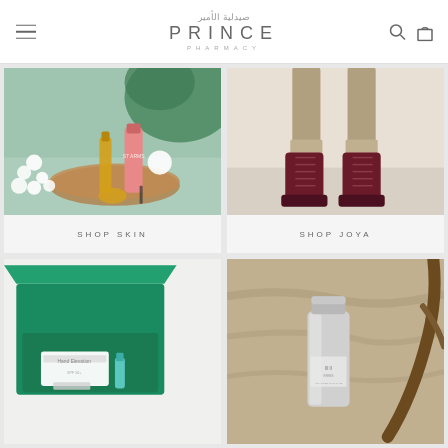Prince Pharmacy (صيدلية الأمير) - navigation header with menu, logo, search and cart icons
[Figure (photo): Skincare products including a pink tube, oil bottle, and beauty items arranged on a wooden tray with white flowers and a monstera leaf on a green background, with label SHOP SKIN]
[Figure (photo): Dark burgundy/wine colored lace-up ankle boots worn with rolled-up khaki trousers against a light background, with label SHOP JOYA]
[Figure (photo): Open green gift box with skincare products and white packaging inside on white background]
[Figure (photo): Silver/grey skincare serum or cream bottle in a cylindrical container against a stone/rocky background with a wooden branch]